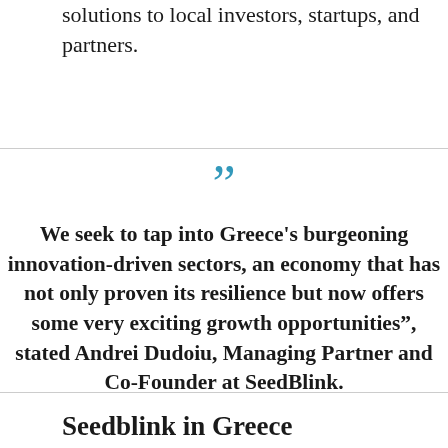solutions to local investors, startups, and partners.
We seek to tap into Greece's burgeoning innovation-driven sectors, an economy that has not only proven its resilience but now offers some very exciting growth opportunities", stated Andrei Dudoiu, Managing Partner and Co-Founder at SeedBlink.
Seedblink in Greece